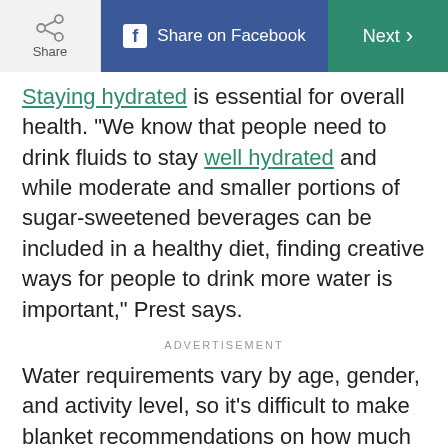Share | Share on Facebook | Next
Staying hydrated is essential for overall health. “We know that people need to drink fluids to stay well hydrated and while moderate and smaller portions of sugar-sweetened beverages can be included in a healthy diet, finding creative ways for people to drink more water is important,” Prest says.
ADVERTISEMENT
Water requirements vary by age, gender, and activity level, so it’s difficult to make blanket recommendations on how much to drink, she adds. She recommends